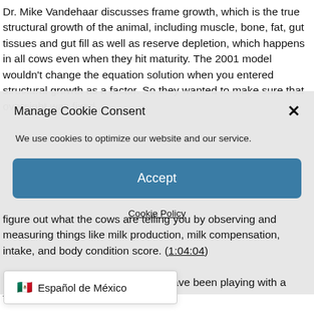Dr. Mike Vandehaar discusses frame growth, which is the true structural growth of the animal, including muscle, bone, fat, gut tissues and gut fill as well as reserve depletion, which happens in all cows even when they hit maturity. The 2001 model wouldn't change the equation solution when you entered structural growth as a factor. So they wanted to make sure that oversight was fixed
Manage Cookie Consent
We use cookies to optimize our website and our service.
Accept
Cookie Policy
figure out what the cows are telling you by observing and measuring things like milk production, milk compensation, intake, and body condition score. (1:04:04)
Dr. Lou Armentano says that they have been playing with a function a month and a half so he
Español de México